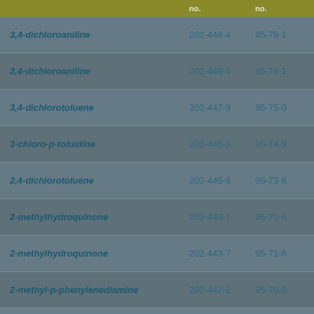|  | no. | no. |
| --- | --- | --- |
| 3,4-dichloroaniline | 202-448-4 | 95-76-1 |
| 3,4-dichloroaniline | 202-448-4 | 95-76-1 |
| 3,4-dichlorotoluene | 202-447-9 | 95-75-0 |
| 3-chloro-p-toluidine | 202-446-3 | 95-74-9 |
| 2,4-dichlorotoluene | 202-445-8 | 95-73-8 |
| 2-methylhydroquinone | 202-443-7 | 95-71-6 |
| 2-methylhydroquinone | 202-443-7 | 95-71-6 |
| 2-methyl-p-phenylenediamine | 202-442-1 | 95-70-5 |